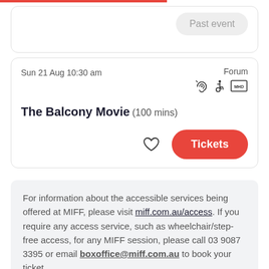Past event
Sun 21 Aug 10:30 am
Forum
The Balcony Movie (100 mins)
Tickets
For information about the accessible services being offered at MIFF, please visit miff.com.au/access. If you require any access service, such as wheelchair/step-free access, for any MIFF session, please call 03 9087 3395 or email boxoffice@miff.com.au to book your ticket.